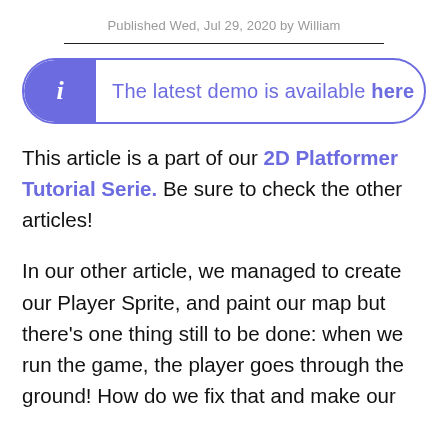Published Wed, Jul 29, 2020 by William
The latest demo is available here
This article is a part of our 2D Platformer Tutorial Serie. Be sure to check the other articles!
In our other article, we managed to create our Player Sprite, and paint our map but there's one thing still to be done: when we run the game, the player goes through the ground! How do we fix that and make our